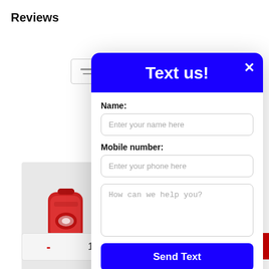Reviews
[Figure (screenshot): E-commerce product page background showing sort icon, red bicycle tail light product thumbnail, quantity selector with minus/plus buttons, and a red strip on the right edge]
[Figure (infographic): Modal dialog with blue header saying 'Text us!' and a close X button. Contains form fields: Name (placeholder: Enter your name here), Mobile number (placeholder: Enter your phone here), message textarea (placeholder: How can we help you?), a Send Text button, and a footer reading 'We connect with Ikeono']